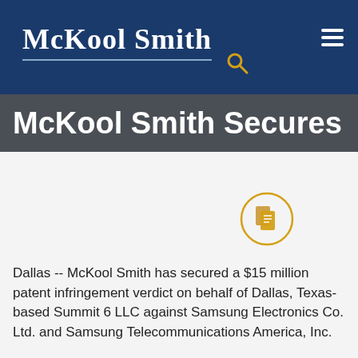McKool Smith
McKool Smith Secures
[Figure (illustration): Document/copy icon inside a circle with gold/orange border]
Dallas -- McKool Smith has secured a $15 million patent infringement verdict on behalf of Dallas, Texas-based Summit 6 LLC against Samsung Electronics Co. Ltd. and Samsung Telecommunications America, Inc.